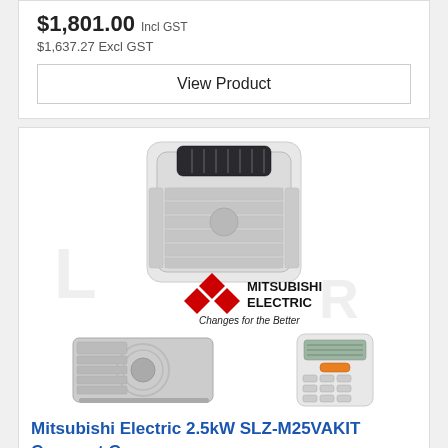$1,801.00 Incl GST
$1,637.27 Excl GST
View Product
[Figure (photo): Mitsubishi Electric 2.5kW SLZ-M25VAKIT Compact Cassette air conditioner product image showing ceiling cassette unit, outdoor compressor unit, remote control, and Mitsubishi Electric logo with tagline 'Changes for the Better']
Mitsubishi Electric 2.5kW SLZ-M25VAKIT Compact Cas